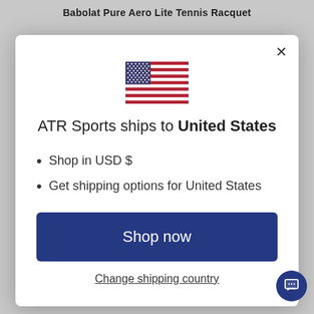Babolat Pure Aero Lite Tennis Racquet
[Figure (illustration): US flag emoji/icon displayed in the center of a modal dialog]
ATR Sports ships to United States
Shop in USD $
Get shipping options for United States
Shop now
Change shipping country